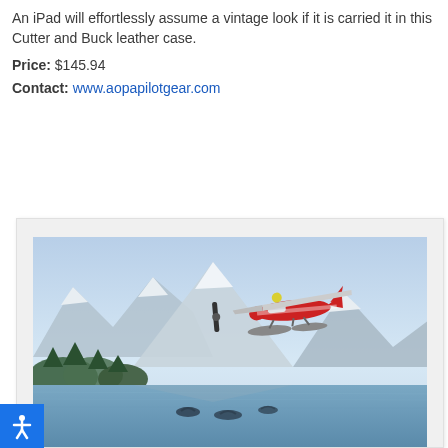An iPad will effortlessly assume a vintage look if it is carried it in this Cutter and Buck leather case.
Price: $145.94
Contact: www.aopapilotgear.com
[Figure (photo): A red and white seaplane (floatplane) flying low over a scenic mountain lake with snow-capped peaks and forested shoreline in the background, with whale tails visible in the water below.]